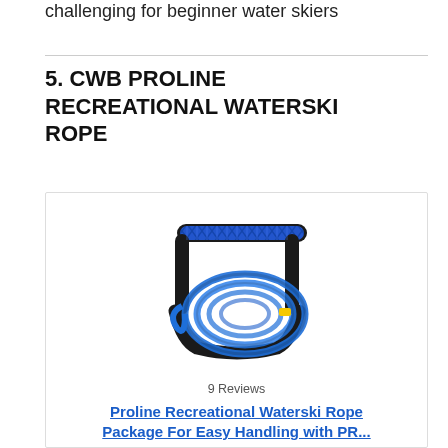challenging for beginner water skiers
5. CWB PROLINE RECREATIONAL WATERSKI ROPE
[Figure (photo): Blue CWB Proline recreational waterski rope coiled with black ergonomic handle]
9 Reviews
Proline Recreational Waterski Rope Package For Easy Handling with PR...